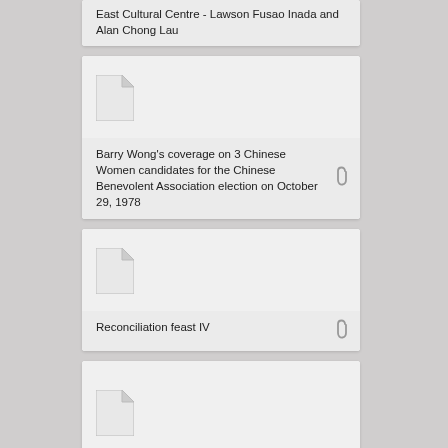East Cultural Centre - Lawson Fusao Inada and Alan Chong Lau
[Figure (illustration): Document icon for Barry Wong item]
Barry Wong's coverage on 3 Chinese Women candidates for the Chinese Benevolent Association election on October 29, 1978
[Figure (illustration): Document icon for Reconciliation feast IV]
Reconciliation feast IV
[Figure (illustration): Document icon for Racism in BC item]
"Racism in BC" AGM presentation, BCTF Task Force on Racism